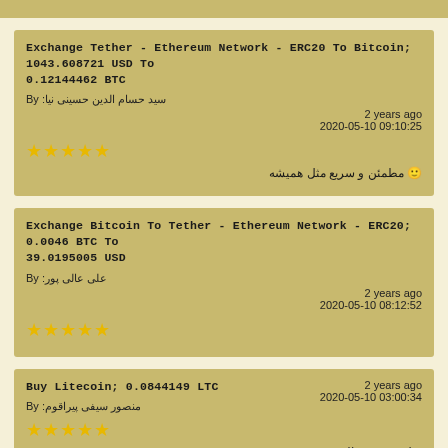Exchange Tether - Ethereum Network - ERC20 To Bitcoin; 1043.608721 USD To 0.12144462 BTC
By: سید حسام الدین حسینی نیا
2 years ago
2020-05-10 09:10:25
★★★★★
🙂 مطمئن و سریع مثل همیشه
Exchange Bitcoin To Tether - Ethereum Network - ERC20; 0.0046 BTC To 39.0195005 USD
By: علی عالی پور
2 years ago
2020-05-10 08:12:52
★★★★★
Buy Litecoin; 0.0844149 LTC
By: منصور سیفی پیراقوم
2 years ago
2020-05-10 03:00:34
★★★★★
مثل همیشه عالی